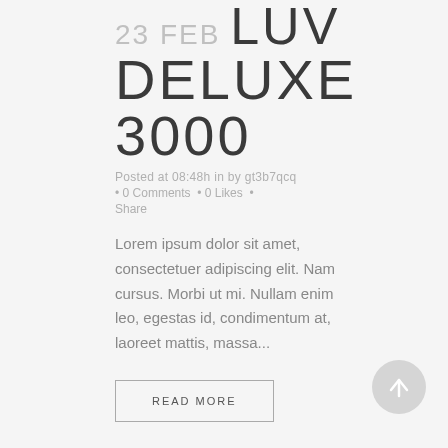23 FEB LUV DELUXE 3000
Posted at 08:48h in by gt3b7qcq
• 0 Comments • 0 Likes •
Share
Lorem ipsum dolor sit amet, consectetuer adipiscing elit. Nam cursus. Morbi ut mi. Nullam enim leo, egestas id, condimentum at, laoreet mattis, massa...
READ MORE
[Figure (illustration): A circular back-to-top button with an upward arrow icon, light gray color]